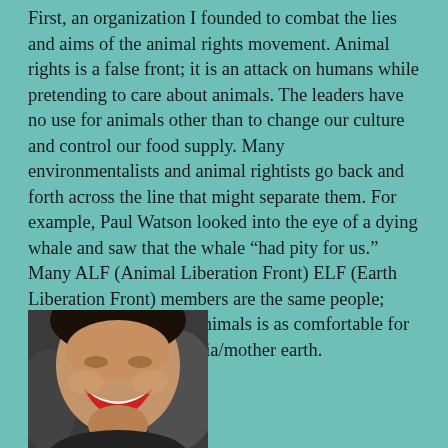First, an organization I founded to combat the lies and aims of the animal rights movement. Animal rights is a false front; it is an attack on humans while pretending to care about animals. The leaders have no use for animals other than to change our culture and control our food supply. Many environmentalists and animal rightists go back and forth across the line that might separate them. For example, Paul Watson looked into the eye of a dying whale and saw that the whale “had pity for us.” Many ALF (Animal Liberation Front) ELF (Earth Liberation Front) members are the same people; terrorism on behalf of animals is as comfortable for them as on behalf of Gaia/mother earth.
[Figure (photo): A laughing woman photographed from slightly below, smiling broadly with teeth showing, dark hair, in a crowd setting. The photo appears to be in color but is partially visible.]